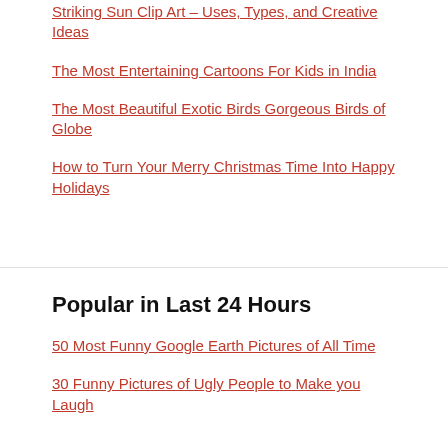Striking Sun Clip Art – Uses, Types, and Creative Ideas
The Most Entertaining Cartoons For Kids in India
The Most Beautiful Exotic Birds Gorgeous Birds of Globe
How to Turn Your Merry Christmas Time Into Happy Holidays
Popular in Last 24 Hours
50 Most Funny Google Earth Pictures of All Time
30 Funny Pictures of Ugly People to Make you Laugh